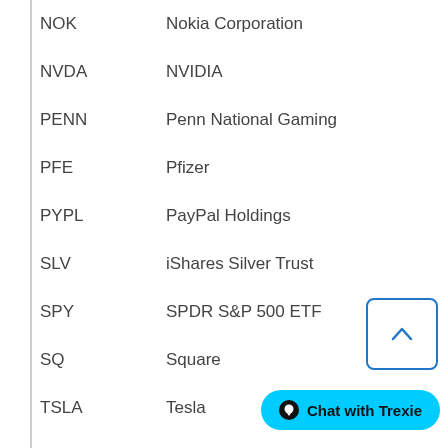| Ticker | Company |
| --- | --- |
| NOK | Nokia Corporation |
| NVDA | NVIDIA |
| PENN | Penn National Gaming |
| PFE | Pfizer |
| PYPL | PayPal Holdings |
| SLV | iShares Silver Trust |
| SPY | SPDR S&P 500 ETF |
| SQ | Square |
| TSLA | Tesla |
[Figure (other): Scroll-to-top button with upward chevron arrow, blue border, white background]
Chat with Trexie